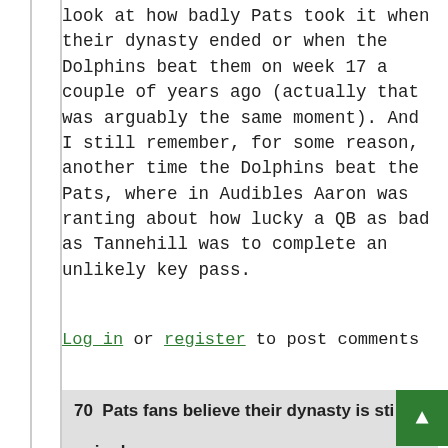look at how badly Pats took it when their dynasty ended or when the Dolphins beat them on week 17 a couple of years ago (actually that was arguably the same moment). And I still remember, for some reason, another time the Dolphins beat the Pats, where in Audibles Aaron was ranting about how lucky a QB as bad as Tannehill was to complete an unlikely key pass.
Log in or register to post comments
70  Pats fans believe their dynasty is still going!
by Tutenkharnage // Jan 30, 2022 - 11:54am